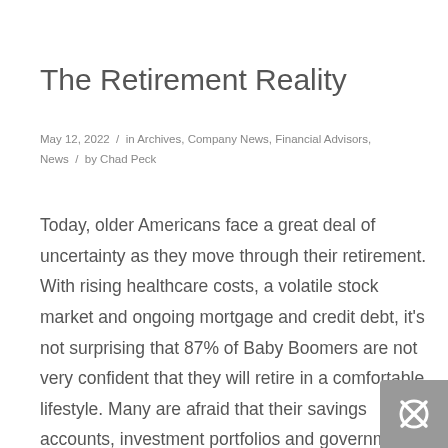The Retirement Reality
May 12, 2022  /  in Archives, Company News, Financial Advisors, News  /  by Chad Peck
Today, older Americans face a great deal of uncertainty as they move through their retirement. With rising healthcare costs, a volatile stock market and ongoing mortgage and credit debt, it's not surprising that 87% of Baby Boomers are not very confident that they will retire in a comfortable lifestyle. Many are afraid that their savings accounts, investment portfolios and government benefits will not provide enough